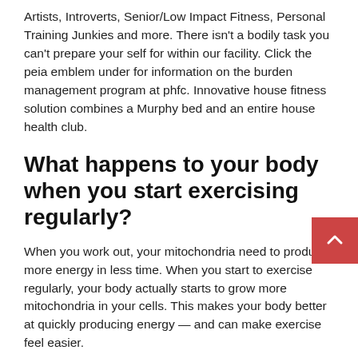Artists, Introverts, Senior/Low Impact Fitness, Personal Training Junkies and more. There isn't a bodily task you can't prepare your self for within our facility. Click the peia emblem under for information on the burden management program at phfc. Innovative house fitness solution combines a Murphy bed and an entire house health club.
What happens to your body when you start exercising regularly?
When you work out, your mitochondria need to produce more energy in less time. When you start to exercise regularly, your body actually starts to grow more mitochondria in your cells. This makes your body better at quickly producing energy — and can make exercise feel easier.
Our synergistic, complete fitness expertise provides a rare journey for everybody. NordicTrack brings a brand new level of interactivity into the world of fitness with machines that transfer for you, controlled digitally by elite